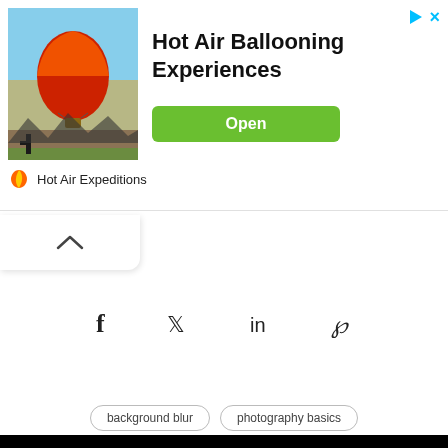[Figure (photo): Advertisement banner showing a hot air balloon at sunset. Red/orange balloon against blue sky. Title: 'Hot Air Ballooning Experiences'. Brand: Hot Air Expeditions. Green Open button.]
[Figure (illustration): Collapse/accordion up-arrow button area]
[Figure (infographic): Social sharing icons: Facebook (f), Twitter (bird), LinkedIn (in), Pinterest (P)]
background blur    photography basics
Photography Axis use cookies to enhance your user experience while using our website. To learn more about the cookies we use and the data we collect, please check our Privacy Settings.
I Accept